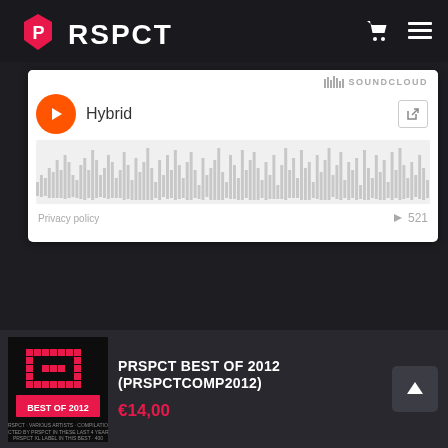PRSPCT
[Figure (screenshot): SoundCloud embedded audio player showing track titled 'Hybrid' with red circular play button, waveform visualization, and play count of 521. Privacy policy link at bottom left.]
[Figure (photo): Album artwork for PRSPCT Best of 2012 (PRSPCTCOMP2012) — dark background with red pixel-art PRSPCT logo and text 'BEST OF 2012']
PRSPCT BEST OF 2012 (PRSPCTCOMP2012)
€14,00